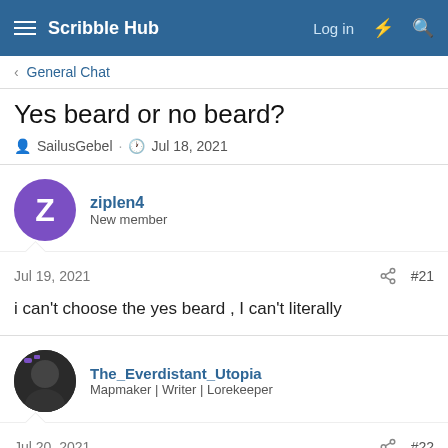Scribble Hub — Log in
General Chat
Yes beard or no beard?
SailusGebel · Jul 18, 2021
ziplen4
New member
Jul 19, 2021  #21
i can't choose the yes beard , I can't literally
The_Everdistant_Utopia
Mapmaker | Writer | Lorekeeper
Jul 20, 2021  #22
Personally, I do like having a big beard. But having long hair and